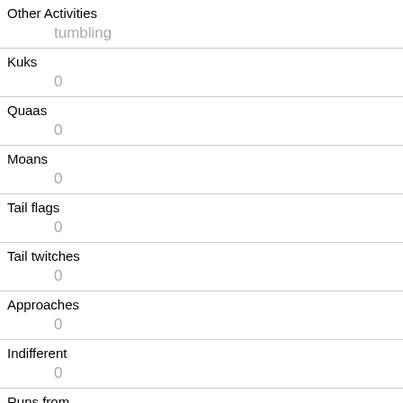| Field | Value |
| --- | --- |
| Other Activities | tumbling |
| Kuks | 0 |
| Quaas | 0 |
| Moans | 0 |
| Tail flags | 0 |
| Tail twitches | 0 |
| Approaches | 0 |
| Indifferent | 0 |
| Runs from | 0 |
| Other Interactions |  |